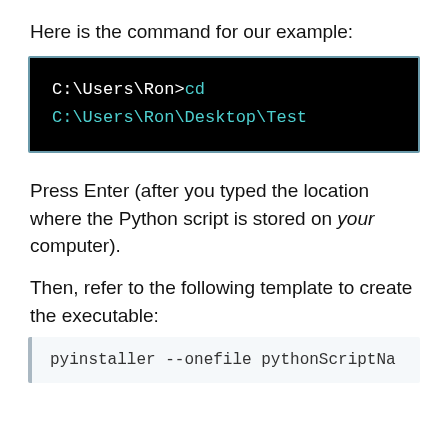Here is the command for our example:
[Figure (screenshot): Black terminal window showing command: C:\Users\Ron>cd C:\Users\Ron\Desktop\Test]
Press Enter (after you typed the location where the Python script is stored on your computer).
Then, refer to the following template to create the executable:
[Figure (screenshot): Light-colored code box showing: pyinstaller --onefile pythonScriptNa (truncated)]